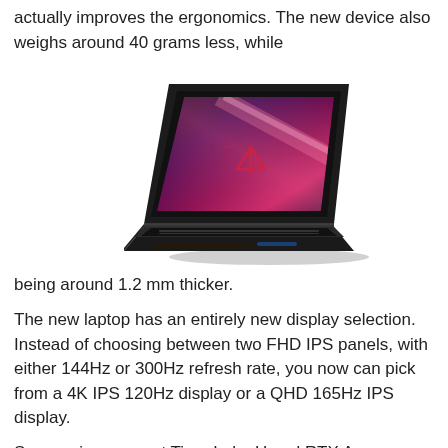actually improves the ergonomics. The new device also weighs around 40 grams less, while
[Figure (photo): ASUS ROG Zephyrus gaming laptop shown at an angle, open with a glowing ROG logo on the screen displaying a purple/pink gradient, black chassis with RGB keyboard]
being around 1.2 mm thicker.
The new laptop has an entirely new display selection. Instead of choosing between two FHD IPS panels, with either 144Hz or 300Hz refresh rate, you now can pick from a 4K IPS 120Hz display or a QHD 165Hz IPS display.
Specs-wise, you get Tiger Lake H and RTX Ampere, which replace the Comet Lake H and RTX Turing chips. You can